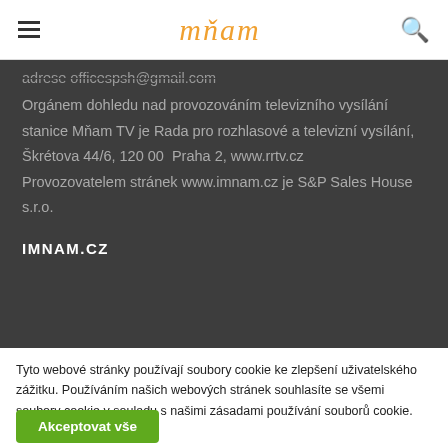mňam
adrese officespsh@gmail.com
Orgánem dohledu nad provozováním televizního vysílání stanice Mňam TV je Rada pro rozhlasové a televizní vysílání,
Škrétova 44/6, 120 00  Praha 2, www.rrtv.cz
Provozovatelem stránek www.imnam.cz je S&P Sales House s.r.o.
IMNAM.CZ
Tyto webové stránky používají soubory cookie ke zlepšení uživatelského zážitku. Používáním našich webových stránek souhlasíte se všemi soubory cookie v souladu s našimi zásadami používání souborů cookie.
Akceptovat vše